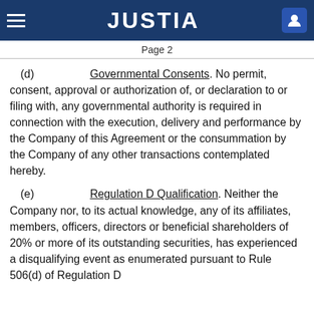JUSTIA
Page 2
(d) Governmental Consents. No permit, consent, approval or authorization of, or declaration to or filing with, any governmental authority is required in connection with the execution, delivery and performance by the Company of this Agreement or the consummation by the Company of any other transactions contemplated hereby.
(e) Regulation D Qualification. Neither the Company nor, to its actual knowledge, any of its affiliates, members, officers, directors or beneficial shareholders of 20% or more of its outstanding securities, has experienced a disqualifying event as enumerated pursuant to Rule 506(d) of Regulation D